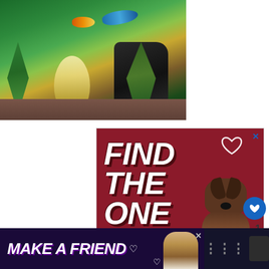[Figure (photo): Aquarium photo showing tropical fish and aquatic plants with green foliage, a yellow-white plant in the center, and dark rocks in the background]
[Figure (photo): Advertisement with dark red background showing bold white italic text 'FIND THE ONE' with a photo of a brindle puppy/dog and a white heart outline in the top right corner]
[Figure (photo): What's Next panel showing a goldfish thumbnail next to text 'How Long Do Tetra Fish Live']
[Figure (photo): Advertisement banner with dark purple/navy background showing bold white italic text 'MAKE A FRIEND' with an image of a dog and heart icons]